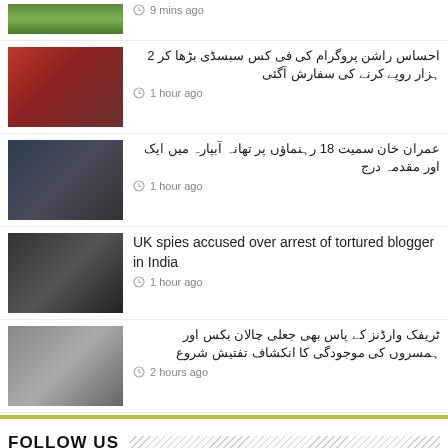9 mins ago
احساس راشن پروگرام کی فی کس سبسڈی بڑھا کر 2 ہزار روپے کرنے کی سفارش آگئی — 1 hour ago
عمران خان سمیت 18 رہنماؤں پر تھانہ آبپارہ میں ایک اور مقدمہ درج — 1 hour ago
UK spies accused over arrest of tortured blogger in India — 1 hour ago
ٹریفک وارڈنز کے پاس بھی جعلی چالان بکس اور ہمسروں کی موجودگی کا انکشاف تفتیش شروع — 2 hours ago
FOLLOW US